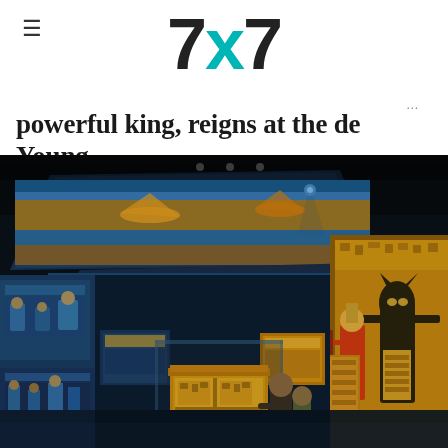7x7
powerful king, reigns at the de Young
[Figure (photo): Interior of an Egyptian-themed exhibition hall at the de Young museum. Dark ceiling with spotlights, large illuminated Egyptian murals and hieroglyphics on the walls, a golden sarcophagus or shrine displayed in a glass case in the center, and two visitors standing looking at it. Massive Egyptian art panels with figures of gods like Anubis line the right wall in vivid gold and orange tones.]